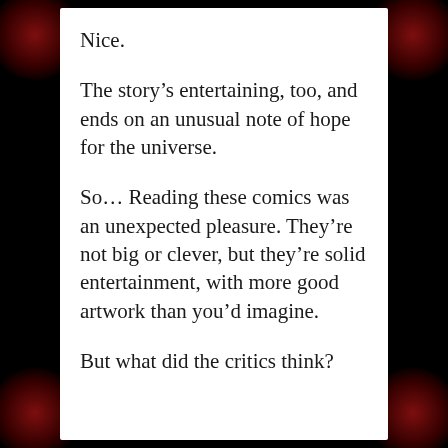Nice.
The story's entertaining, too, and ends on an unusual note of hope for the universe.
So… Reading these comics was an unexpected pleasure. They're not big or clever, but they're solid entertainment, with more good artwork than you'd imagine.
But what did the critics think?